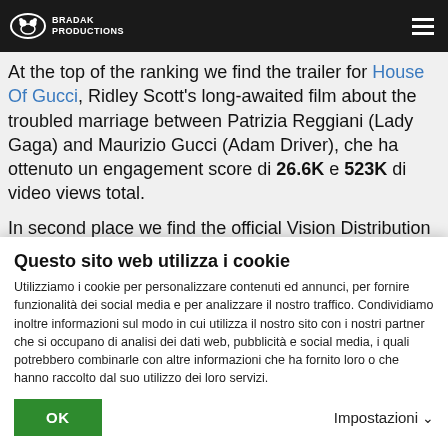BRADAK PRODUCTIONS
At the top of the ranking we find the trailer for House Of Gucci, Ridley Scott's long-awaited film about the troubled marriage between Patrizia Reggiani (Lady Gaga) and Maurizio Gucci (Adam Driver), che ha ottenuto un engagement score di 26.6K e 523K di video views total.
In second place we find the official Vision Distribution trailer of Like a cat on the ring road – Return to Coccia di Morto, the sequel to How A Cat In Freeway it. The comedy directed
Questo sito web utilizza i cookie
Utilizziamo i cookie per personalizzare contenuti ed annunci, per fornire funzionalità dei social media e per analizzare il nostro traffico. Condividiamo inoltre informazioni sul modo in cui utilizza il nostro sito con i nostri partner che si occupano di analisi dei dati web, pubblicità e social media, i quali potrebbero combinarle con altre informazioni che ha fornito loro o che hanno raccolto dal suo utilizzo dei loro servizi.
OK  Impostazioni